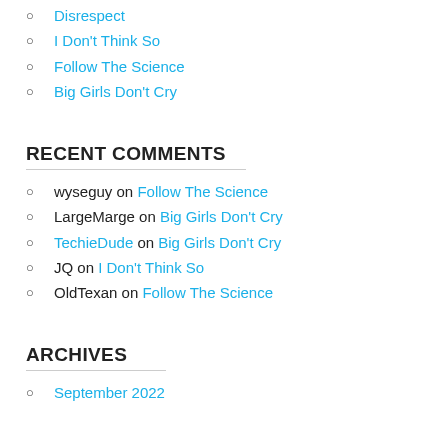Disrespect
I Don't Think So
Follow The Science
Big Girls Don't Cry
RECENT COMMENTS
wyseguy on Follow The Science
LargeMarge on Big Girls Don't Cry
TechieDude on Big Girls Don't Cry
JQ on I Don't Think So
OldTexan on Follow The Science
ARCHIVES
September 2022